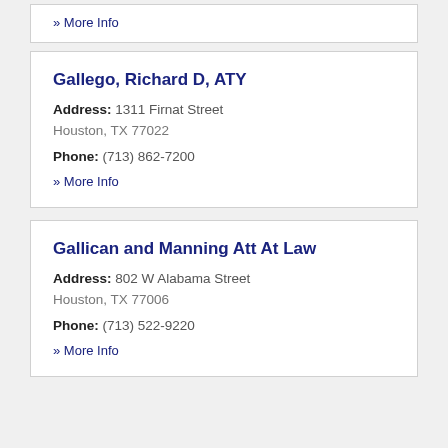» More Info
Gallego, Richard D, ATY
Address: 1311 Firnat Street Houston, TX 77022
Phone: (713) 862-7200
» More Info
Gallican and Manning Att At Law
Address: 802 W Alabama Street Houston, TX 77006
Phone: (713) 522-9220
» More Info